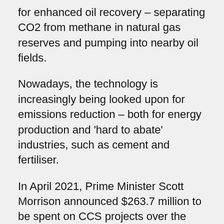for enhanced oil recovery – separating CO2 from methane in natural gas reserves and pumping into nearby oil fields.
Nowadays, the technology is increasingly being looked upon for emissions reduction – both for energy production and 'hard to abate' industries, such as cement and fertiliser.
In April 2021, Prime Minister Scott Morrison announced $263.7 million to be spent on CCS projects over the coming decade, building on last year's pledge of $50 million over five years.
Globally, there are now also 26 large scale CCS projects in operation, with another 37 in